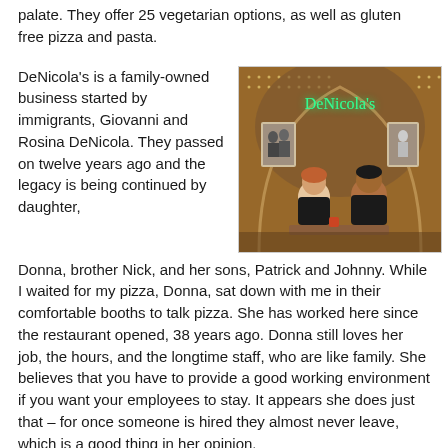palate. They offer 25 vegetarian options, as well as gluten free pizza and pasta.
DeNicola's is a family-owned business started by immigrants, Giovanni and Rosina DeNicola. They passed on twelve years ago and the legacy is being continued by daughter, Donna, brother Nick, and her sons, Patrick and Johnny. While I waited for my pizza, Donna, sat down with me in their comfortable booths to talk pizza. She has worked here since the restaurant opened, 38 years ago. Donna still loves her job, the hours, and the longtime staff, who are like family. She believes that you have to provide a good working environment if you want your employees to stay. It appears she does just that – for once someone is hired they almost never leave, which is a good thing in her opinion.
[Figure (photo): Interior of DeNicola's restaurant showing two staff members seated at a booth, with a glowing neon sign reading 'DeNicola's' in green above them, decorative lattice wall with small lights, and framed photos on the wall.]